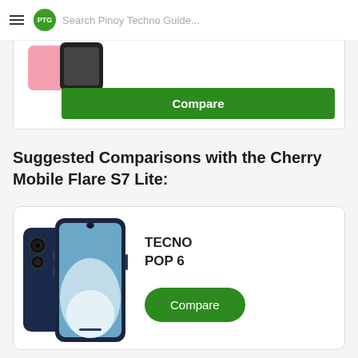PTG Search Pinoy Techno Guide...
[Figure (screenshot): Partial phone comparison card with a pink and black phone image and a green Compare button]
Suggested Comparisons with the Cherry Mobile Flare S7 Lite:
[Figure (photo): TECNO POP 6 smartphone product photo showing front and back views in dark blue color]
TECNO POP 6
Compare